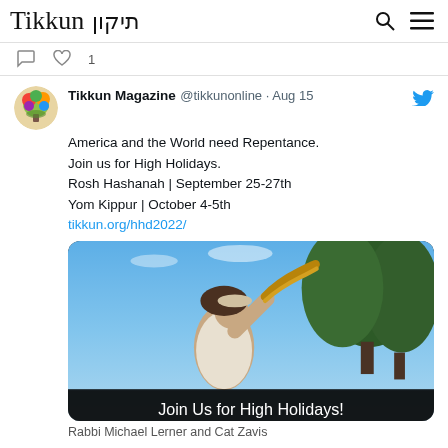Tikkun תיקון
❤ 1
Tikkun Magazine @tikkunonline · Aug 15
America and the World need Repentance.
Join us for High Holidays.
Rosh Hashanah | September 25-27th
Yom Kippur | October 4-5th
tikkun.org/hhd2022/
[Figure (photo): Person blowing a shofar outdoors with trees and blue sky in background. Image overlay text reads 'Join Us for High Holidays!']
Rabbi Michael Lerner and Cat Zavis